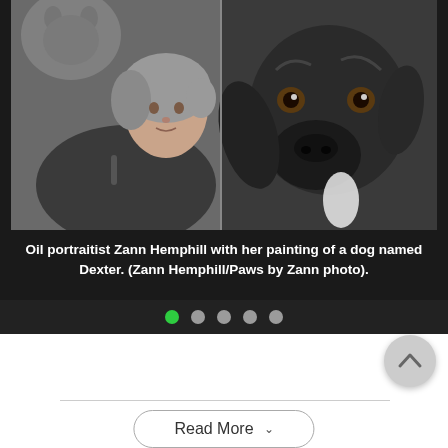[Figure (photo): Photo of oil portraitist Zann Hemphill, a woman with gray hair wearing a dark jacket, posing next to a large oil painting portrait of a black Labrador dog named Dexter. A cat is partially visible in the upper left background.]
Oil portraitist Zann Hemphill with her painting of a dog named Dexter. (Zann Hemphill/Paws by Zann photo).
Read More